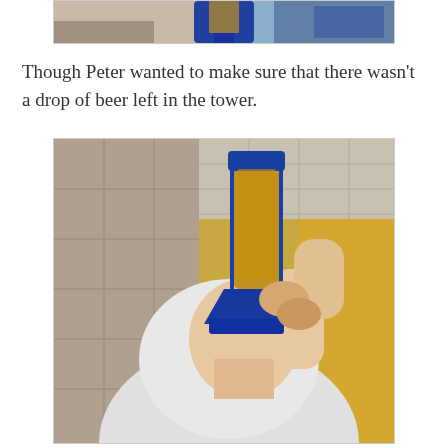[Figure (photo): Partial top photo showing the bottom portion of a beer tower/dispenser with blue base and amber liquid, cropped at top of page]
Though Peter wanted to make sure that there wasn't a drop of beer left in the tower.
[Figure (photo): Photo of a man tipping a large blue beer tower dispenser upside down over his mouth, drinking the last of the beer. He is wearing a white polo shirt. Behind him is a stone column and a yellow-lit restaurant interior with a drop ceiling.]